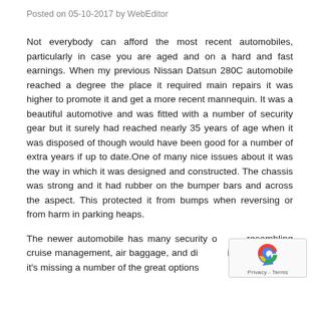Posted on 05-10-2017 by WebEditor
Not everybody can afford the most recent automobiles, particularly in case you are aged and on a hard and fast earnings. When my previous Nissan Datsun 280C automobile reached a degree the place it required main repairs it was higher to promote it and get a more recent mannequin. It was a beautiful automotive and was fitted with a number of security gear but it surely had reached nearly 35 years of age when it was disposed of though would have been good for a number of extra years if up to date.One of many nice issues about it was the way in which it was designed and constructed. The chassis was strong and it had rubber on the bumper bars and across the aspect. This protected it from bumps when reversing or from harm in parking heaps.
The newer automobile has many security options resembling cruise management, air baggage, and di... issues however it's missing a number of the great options...